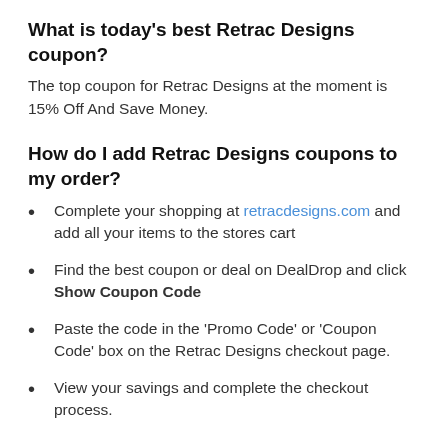What is today's best Retrac Designs coupon?
The top coupon for Retrac Designs at the moment is 15% Off And Save Money.
How do I add Retrac Designs coupons to my order?
Complete your shopping at retracdesigns.com and add all your items to the stores cart
Find the best coupon or deal on DealDrop and click Show Coupon Code
Paste the code in the 'Promo Code' or 'Coupon Code' box on the Retrac Designs checkout page.
View your savings and complete the checkout process.